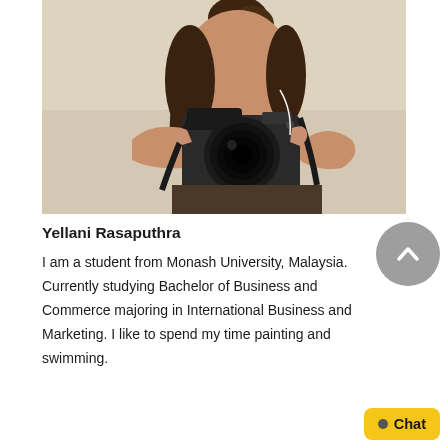[Figure (photo): Person holding a DSLR camera up to their face, with dark hair in a bun, photographed against a light beige/cream background.]
Yellani Rasaputhra
I am a student from Monash University, Malaysia. Currently studying Bachelor of Business and Commerce majoring in International Business and Marketing. I like to spend my time painting and swimming.